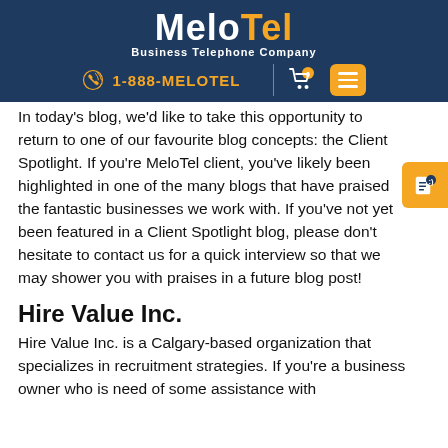MeloTel Business Telephone Company | 1-888-MELOTEL
In today's blog, we'd like to take this opportunity to return to one of our favourite blog concepts: the Client Spotlight. If you're MeloTel client, you've likely been highlighted in one of the many blogs that have praised the fantastic businesses we work with. If you've not yet been featured in a Client Spotlight blog, please don't hesitate to contact us for a quick interview so that we may shower you with praises in a future blog post!
Hire Value Inc.
Hire Value Inc. is a Calgary-based organization that specializes in recruitment strategies. If you're a business owner who is need of some assistance with